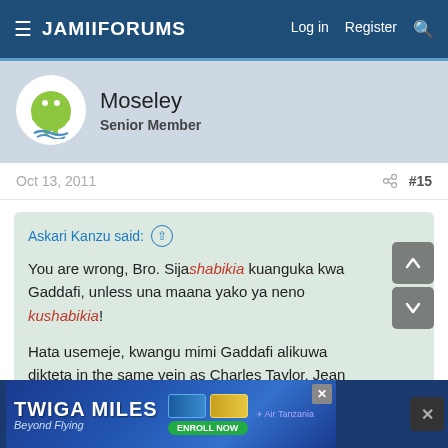JamiiForums  Log in  Register
Moseley
Senior Member
Oct 13, 2011  #15
Askari Kanzu said:
You are wrong, Bro. Sijashabikia kuanguka kwa Gaddafi, unless una maana yako ya neno kushabikia!
Hata usemeje, kwangu mimi Gaddafi alikuwa dikteta in the same vein as Charles Taylor, Jean Bedel Bokassa, Marcias Nguema et.al, na amechangia sana
[Figure (illustration): Advertisement banner for Twiga Miles - Beyond Flying, Air Tanzania, with Enroll Now button]